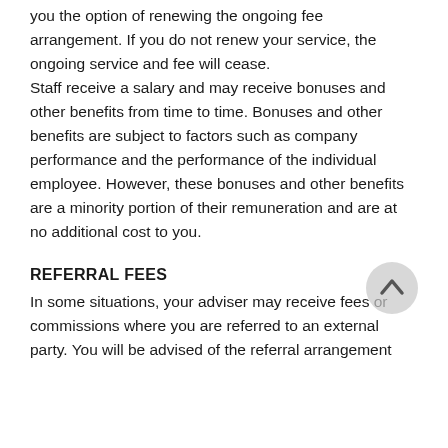you the option of renewing the ongoing fee arrangement. If you do not renew your service, the ongoing service and fee will cease.
Staff receive a salary and may receive bonuses and other benefits from time to time. Bonuses and other benefits are subject to factors such as company performance and the performance of the individual employee. However, these bonuses and other benefits are a minority portion of their remuneration and are at no additional cost to you.
REFERRAL FEES
In some situations, your adviser may receive fees or commissions where you are referred to an external party. You will be advised of the referral arrangement